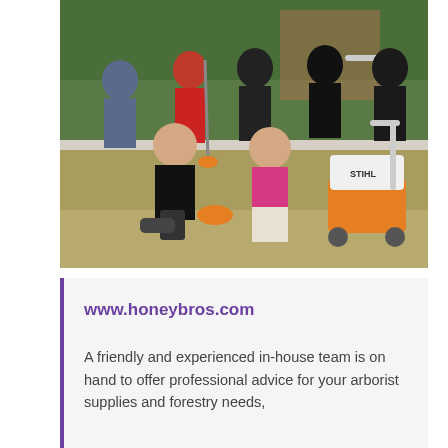[Figure (photo): Group photo of seven people posing outdoors on a lawn. Two people kneel in the foreground: a bald man on the left in a black t-shirt and shorts, and a woman in the centre in a pink polo shirt kneeling next to an orange and white STIHL lawn mower. Behind them stand five more people, several holding gardening tools including an orange STIHL strimmer. They are in a garden with green hedges and brick wall in the background.]
www.honeybros.com
A friendly and experienced in-house team is on hand to offer professional advice for your arborist supplies and forestry needs,